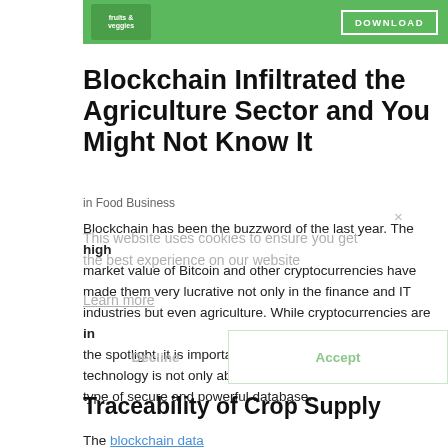[Figure (other): Green banner advertisement with a download button on the right side]
Blockchain Infiltrated the Agriculture Sector and You Might Not Know It
in Food Business
Blockchain has been the buzzword of the last year. The high market value of Bitcoin and other cryptocurrencies have made them very lucrative not only in the finance and IT industries but even agriculture. While cryptocurrencies are in the spotlight, it is important to take note that blockchain technology is not only about digital cash as it is actually a type of secure and powerful database.
This website uses cookies to ensure you get the best experience on our website
Learn more
Decline
Accept
Traceability of Crop Supply
The blockchain data...